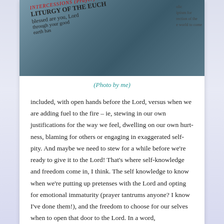[Figure (photo): Photo of open book/missal pages showing liturgical text including 'INTERCESSIONS (Prayer)', 'LITURGY OF THE EUCH', and partial text 'blessed are you, Lord', 'through your good', 'earth has']
(Photo by me)
included, with open hands before the Lord, versus when we are adding fuel to the fire – ie, stewing in our own justifications for the way we feel, dwelling on our own hurt-ness, blaming for others or engaging in exaggerated self-pity.  And maybe we need to stew for a while before we’re ready to give it to the Lord! That’s where self-knowledge and freedom come in,  I think. The self knowledge to know when we’re putting up pretenses with the Lord and opting for emotional immaturity (prayer tantrums anyone? I know I’ve done them!), and the freedom to choose for our selves when to open that door to the Lord. In a word,